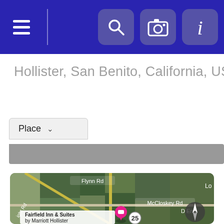[Figure (screenshot): Dark blue navigation bar with hamburger menu icon on left, and search, camera, and info icon buttons on the right]
Hollister, San Benito, California, USA
[Figure (screenshot): Place dropdown selector with chevron and gray bar below]
[Figure (map): Satellite/aerial map view showing Hollister area with roads including Flynn Rd and McCloskey Rd, agricultural fields, and a marker for Fairfield Inn & Suites by Marriott Hollister. Also shows route 25 and a north arrow compass button.]